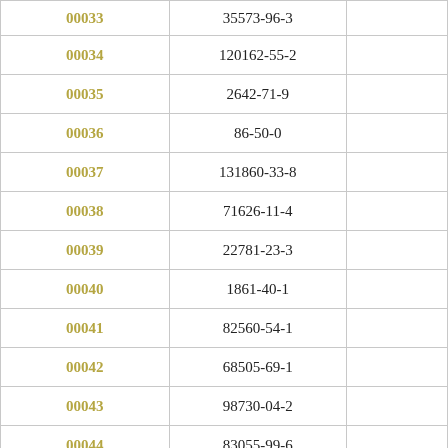|  |  |  |
| --- | --- | --- |
| 00033 | 35573-96-3 |  |
| 00034 | 120162-55-2 |  |
| 00035 | 2642-71-9 |  |
| 00036 | 86-50-0 |  |
| 00037 | 131860-33-8 |  |
| 00038 | 71626-11-4 |  |
| 00039 | 22781-23-3 |  |
| 00040 | 1861-40-1 |  |
| 00041 | 82560-54-1 |  |
| 00042 | 68505-69-1 |  |
| 00043 | 98730-04-2 |  |
| 00044 | 83055-99-6 |  |
| 00045 | 156963-66-5 |  |
| 00046 | 1622134-82-0 |  |
| 00047 | 82692-44-2 |  |
| 00048 | 149877-41-8 |  |
| 00049 | 42576-02-3 |  |